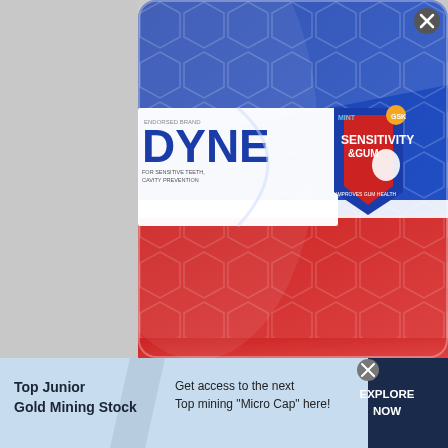[Figure (photo): Sensodyne Sensitivity & Gum toothpaste product advertisement showing the toothpaste box against a blue and red hexagonal patterned background. The box shows 'DYNE' (Sensodyne) branding, SENSITIVITY & GUM variant in mint flavor, for sensitive teeth and cavity prevention, improves gum health.]
[Figure (infographic): Banner advertisement for 'Top Junior Gold Mining Stock' with light blue background. Left section has bold text 'Top Junior Gold Mining Stock'. Middle text says 'Get access to the next Top mining "Micro Cap" here!'. Right dark navy button says 'EXPLORE NOW'. There is an X close button above the right button.]